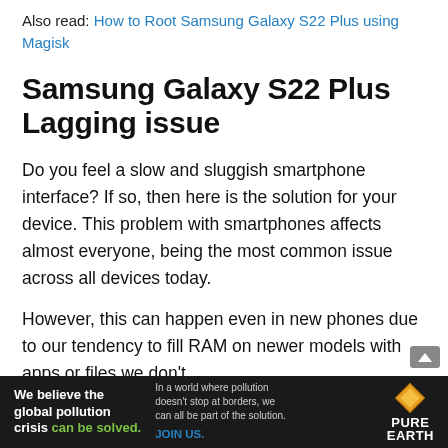Also read: How to Root Samsung Galaxy S22 Plus using Magisk
Samsung Galaxy S22 Plus Lagging issue
Do you feel a slow and sluggish smartphone interface? If so, then here is the solution for your device. This problem with smartphones affects almost everyone, being the most common issue across all devices today.
However, this can happen even in new phones due to our tendency to fill RAM on newer models with apps or files we don't
[Figure (other): Advertisement banner: Pure Earth - 'We believe the global pollution crisis can be solved. In a world where pollution doesn't stop at borders, we can all be part of the solution. JOIN US.']